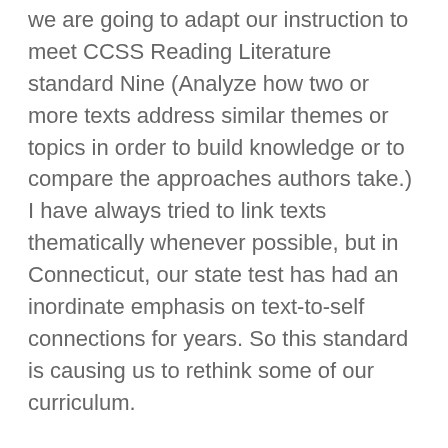we are going to adapt our instruction to meet CCSS Reading Literature standard Nine (Analyze how two or more texts address similar themes or topics in order to build knowledge or to compare the approaches authors take.) I have always tried to link texts thematically whenever possible, but in Connecticut, our state test has had an inordinate emphasis on text-to-self connections for years. So this standard is causing us to rethink some of our curriculum.
I think this is a very good thing, as there is plenty of evidence that reading multiple texts on the same topic and pairing fiction and nonfiction texts helps students build a stronger knowledge base. So we've been creating text sets to support our reading units of study. For example, we've selected a variety of titles around the main theme of each unit so